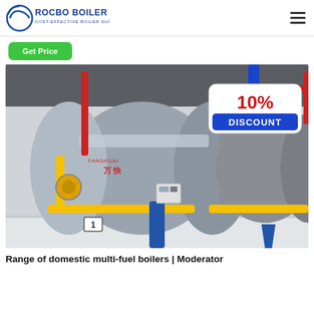[Figure (logo): Rocbo Boiler logo — circular wave graphic on left, bold text 'ROCBO BOILER' with tagline 'COST-EFFECTIVE BOILER SUPPLIER' in blue/dark]
[Figure (photo): Industrial boiler room with two large horizontal cylindrical boilers (silver/grey), labelled with Chinese characters and brand name. Yellow piping, red pipes, blue columns. A '10% DISCOUNT' badge overlaid top right.]
Range of domestic multi-fuel boilers | Moderator